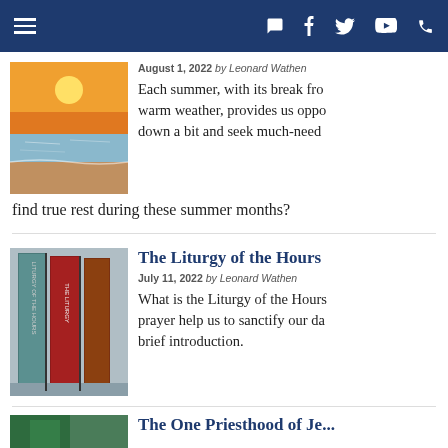Navigation bar with hamburger menu and social icons
August 1, 2022 by Leonard Wathen
Each summer, with its break from warm weather, provides us opportunity to slow down a bit and seek much-needed rest. But how do we find true rest during these summer months?
The Liturgy of the Hours
July 11, 2022 by Leonard Wathen
What is the Liturgy of the Hours and how can this prayer help us to sanctify our day? Here is a brief introduction.
The One Priesthood of Je...